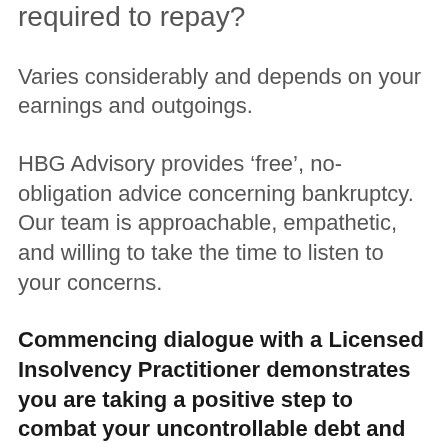required to repay?
Varies considerably and depends on your earnings and outgoings.
HBG Advisory provides ‘free’, no-obligation advice concerning bankruptcy. Our team is approachable, empathetic, and willing to take the time to listen to your concerns.
Commencing dialogue with a Licensed Insolvency Practitioner demonstrates you are taking a positive step to combat your uncontrollable debt and put yourself back in charge.